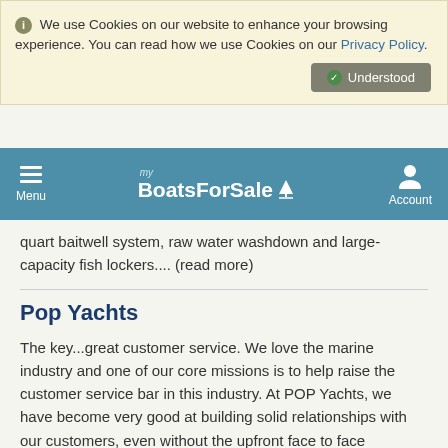ℹ We use Cookies on our website to enhance your browsing experience. You can read how we use Cookies on our Privacy Policy.
Understood
Menu | my BoatsForSale | Account
quart baitwell system, raw water washdown and large-capacity fish lockers.... (read more)
Pop Yachts
The key...great customer service. We love the marine industry and one of our core missions is to help raise the customer service bar in this industry. At POP Yachts, we have become very good at building solid relationships with our customers, even without the upfront face to face interaction. We spend a full 2 months training our new sales associates on various techniques to help them excel at this "new" way of selling.... (read more)